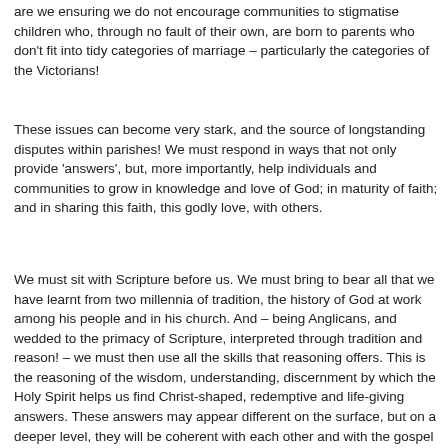are we ensuring we do not encourage communities to stigmatise children who, through no fault of their own, are born to parents who don't fit into tidy categories of marriage – particularly the categories of the Victorians!
These issues can become very stark, and the source of longstanding disputes within parishes! We must respond in ways that not only provide 'answers', but, more importantly, help individuals and communities to grow in knowledge and love of God; in maturity of faith; and in sharing this faith, this godly love, with others.
We must sit with Scripture before us. We must bring to bear all that we have learnt from two millennia of tradition, the history of God at work among his people and in his church. And – being Anglicans, and wedded to the primacy of Scripture, interpreted through tradition and reason! – we must then use all the skills that reasoning offers. This is the reasoning of the wisdom, understanding, discernment by which the Holy Spirit helps us find Christ-shaped, redemptive and life-giving answers. These answers may appear different on the surface, but on a deeper level, they will be coherent with each other and with the gospel of Jesus Christ.